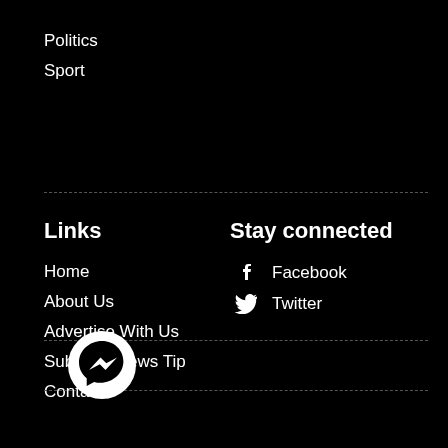Politics
Sport
Links
Home
About Us
Advertise With Us
Submit a News Tip
Contact
Stay connected
Facebook
Twitter
[Figure (logo): Facebook Messenger chat bubble icon in white on black background]